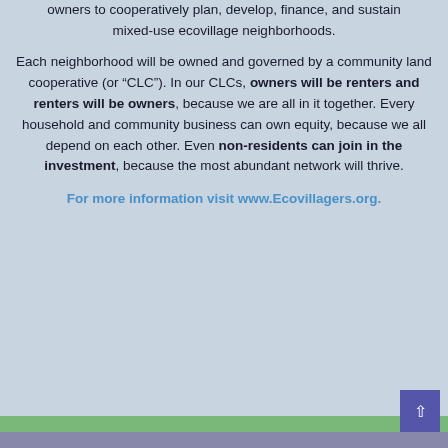owners to cooperatively plan, develop, finance, and sustain mixed-use ecovillage neighborhoods.
Each neighborhood will be owned and governed by a community land cooperative (or “CLC”). In our CLCs, owners will be renters and renters will be owners, because we are all in it together. Every household and community business can own equity, because we all depend on each other. Even non-residents can join in the investment, because the most abundant network will thrive.
For more information visit www.Ecovillagers.org.